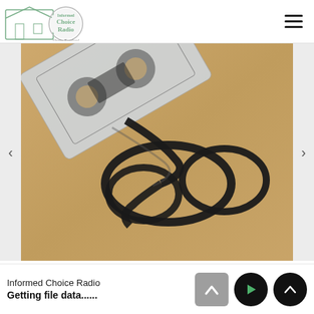Informed Choice Radio
[Figure (photo): A cassette tape with magnetic tape unspooled, coiled in loops on a wooden surface. The clear plastic cassette case is visible in the upper left corner.]
ICR295: Informed Choice Radio Rewind 2017 (Part
Informed Choice Radio
Getting file data......